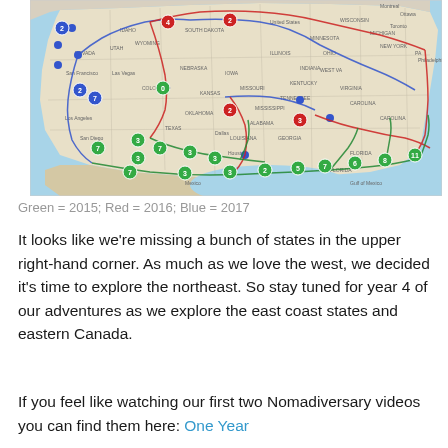[Figure (map): Map of the United States showing travel routes for three years: Green = 2015, Red = 2016, Blue = 2017. Routes are marked with numbered circle markers at various stops across the country.]
Green = 2015; Red = 2016; Blue = 2017
It looks like we're missing a bunch of states in the upper right-hand corner. As much as we love the west, we decided it's time to explore the northeast. So stay tuned for year 4 of our adventures as we explore the east coast states and eastern Canada.
If you feel like watching our first two Nomadiversary videos you can find them here: One Year